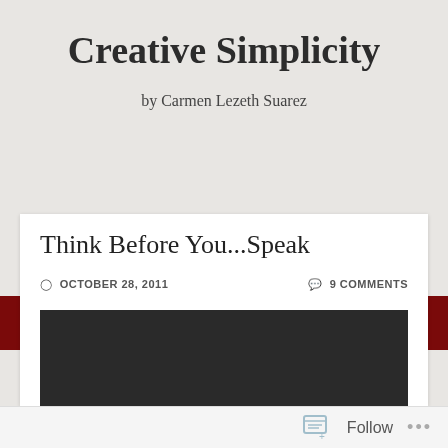Creative Simplicity
by Carmen Lezeth Suarez
MENU
Think Before You...Speak
OCTOBER 28, 2011   9 COMMENTS
[Figure (photo): Dark/black image embedded in blog post]
Follow